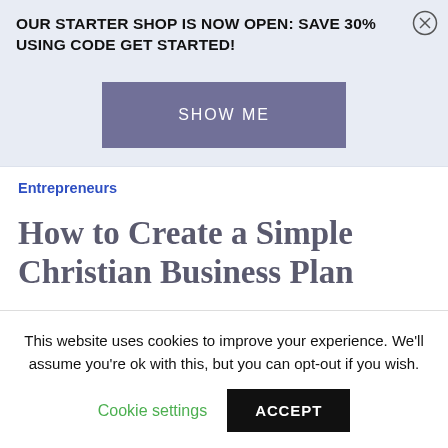OUR STARTER SHOP IS NOW OPEN: SAVE 30% USING CODE GET STARTED!
[Figure (other): Button labeled SHOW ME with purple/slate background]
Entrepreneurs
How to Create a Simple Christian Business Plan
This website uses cookies to improve your experience. We'll assume you're ok with this, but you can opt-out if you wish.
Cookie settings  ACCEPT